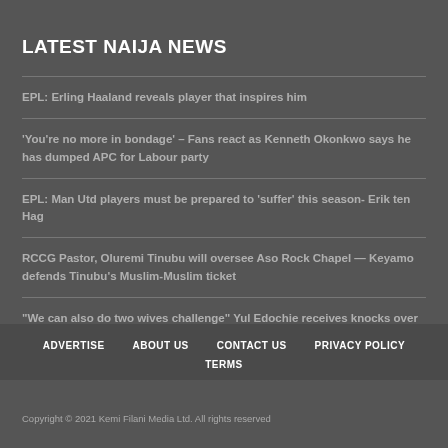LATEST NAIJA NEWS
EPL: Erling Haaland reveals player that inspires him
'You’re no more in bondage' – Fans react as Kenneth Okonkwo says he has dumped APC for Labour party
EPL: Man Utd players must be prepared to ‘suffer’ this season- Erik ten Hag
RCCG Pastor, Oluremi Tinubu will oversee Aso Rock Chapel — Keyamo defends Tinubu’s Muslim-Muslim ticket
“We can also do two wives challenge” Yul Edochie receives knocks over his condemnation of the #Shettima challenge
ADVERTISE   ABOUT US   CONTACT US   PRIVACY POLICY   TERMS
Copyright © 2021 Kemi Filani Media Ltd. All rights reserved